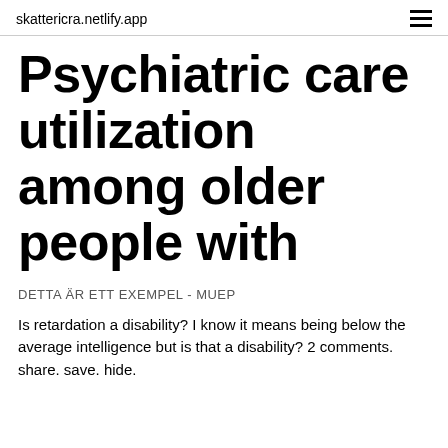skattericra.netlify.app
Psychiatric care utilization among older people with
DETTA ÄR ETT EXEMPEL - MUEP
Is retardation a disability? I know it means being below the average intelligence but is that a disability? 2 comments. share. save. hide.